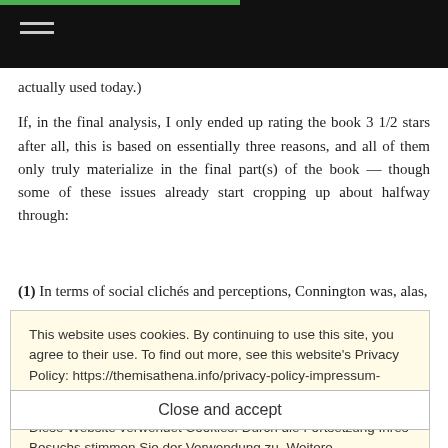actually used today.)
If, in the final analysis, I only ended up rating the book 3 1/2 stars after all, this is based on essentially three reasons, and all of them only truly materialize in the final part(s) of the book — though some of these issues already start cropping up about halfway through:
(1) In terms of social clichés and perceptions, Connington was, alas,
This website uses cookies. By continuing to use this site, you agree to their use. To find out more, see this website's Privacy Policy: https://themisathena.info/privacy-policy-impressum-datenschutz

Diese Website verwendet Cookies. Durch die Fortsetzung Ihres Besuchs stimmen Sie der Verwendung zu. Weitere Informationen finden Sie auf der Seite Impressum und Datenschutz: https://themisathena.info/privacy-policy-impressum-datenschutz Privacy & Cookie Policy
Close and accept
that utopian society).